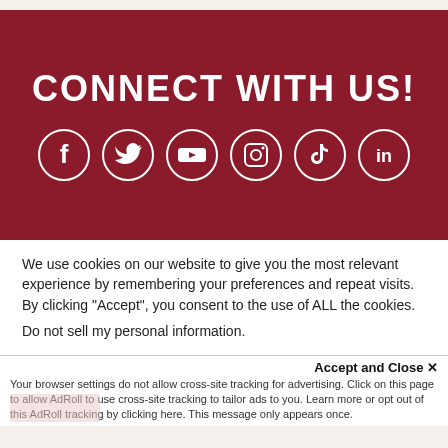CONNECT WITH US!
[Figure (illustration): Six social media icons in white circles on dark red background: Facebook, Twitter, YouTube, Instagram, TikTok, LinkedIn]
We use cookies on our website to give you the most relevant experience by remembering your preferences and repeat visits. By clicking “Accept”, you consent to the use of ALL the cookies.
Do not sell my personal information.
Accept and Close ×
Your browser settings do not allow cross-site tracking for advertising. Click on this page to allow AdRoll to use cross-site tracking to tailor ads to you. Learn more or opt out of this AdRoll tracking by clicking here. This message only appears once.